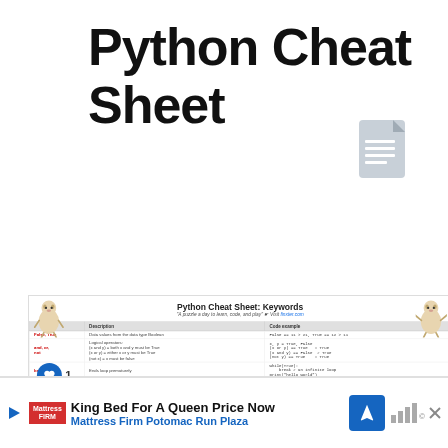Python Cheat Sheet
[Figure (screenshot): Screenshot of a Python Cheat Sheet: Keywords page with a table showing keyword descriptions and code examples, featuring two Python mascot illustrations and social interaction badges (like/share).]
King Bed For A Queen Price Now
Mattress Firm Potomac Run Plaza